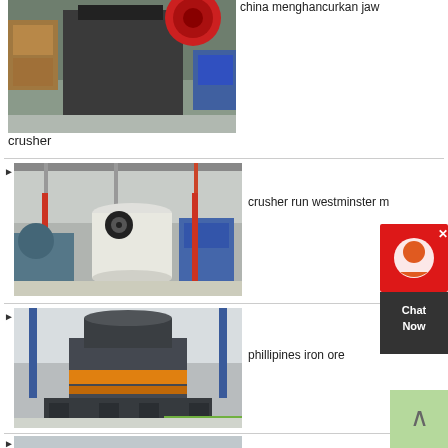[Figure (photo): Industrial jaw crusher machinery in a factory or outdoor setting, showing heavy equipment with orange and black components]
china menghancurkan jaw crusher
[Figure (photo): Industrial milling/grinding equipment in a factory hall, showing large cylindrical machines in white and blue colors]
crusher run westminster m
[Figure (photo): Large industrial cone crusher or VSI crusher in grey with orange accent ring, mounted on a heavy steel frame in a factory]
phillipines iron ore
[Figure (photo): Industrial milling machinery in a factory, similar to the second image showing large equipment in a warehouse]